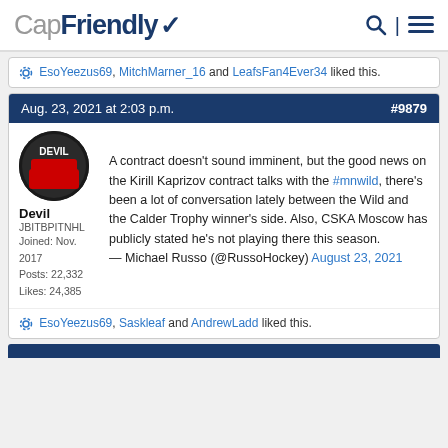CapFriendly
EsoYeezus69, MitchMarner_16 and LeafsFan4Ever34 liked this.
Aug. 23, 2021 at 2:03 p.m. #9879
Devil
JBITBPITNHL
Joined: Nov. 2017
Posts: 22,332
Likes: 24,385
A contract doesn't sound imminent, but the good news on the Kirill Kaprizov contract talks with the #mnwild, there's been a lot of conversation lately between the Wild and the Calder Trophy winner's side. Also, CSKA Moscow has publicly stated he's not playing there this season.
— Michael Russo (@RussoHockey) August 23, 2021
EsoYeezus69, Saskleaf and AndrewLadd liked this.